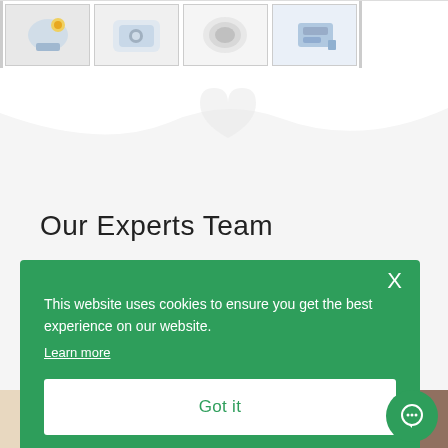[Figure (photo): Row of four product thumbnail images of medical/dental equipment against white backgrounds, bordered with grey outlines]
[Figure (illustration): Light grey background section with white wavy/heart-shaped decorative element at top]
Our Experts Team
This website uses cookies to ensure you get the best experience on our website.
Learn more
Got it
[Figure (photo): Bottom strip showing partial images of medical professionals/people]